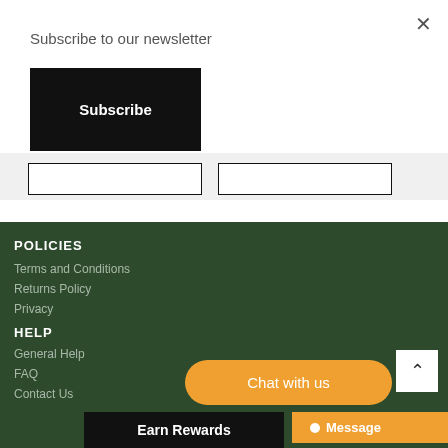×
Subscribe to our newsletter
Subscribe
POLICIES
Terms and Conditions
Returns Policy
Privacy
HELP
General Help
FAQ
Contact Us
Chat with us
Message
Earn Rewards